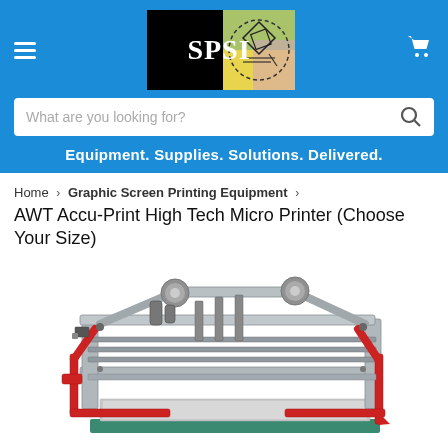[Figure (logo): SPSI logo with black background text and colorful graphic icon]
What are you looking for?
Equipment. Supplies. Solutions. Delivered.
Home > Graphic Screen Printing Equipment > AWT Accu-Print High Tech Micro Printer (Choose Your Size)
[Figure (photo): AWT Accu-Print High Tech Micro Printer machine with red frame arms, silver aluminum body, and green base on white background]